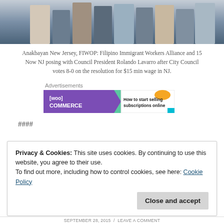[Figure (photo): Bottom portion of a group photo showing people's lower bodies and feet standing together outdoors.]
Anakbayan New Jersey, FIWOP: Filipino Immigrant Workers Alliance and 15 Now NJ posing with Council President Rolando Lavarro after City Council votes 8-0 on the resolution for $15 min wage in NJ.
[Figure (screenshot): WooCommerce advertisement banner: 'How to start selling subscriptions online']
####
Privacy & Cookies: This site uses cookies. By continuing to use this website, you agree to their use.
To find out more, including how to control cookies, see here: Cookie Policy
SEPTEMBER 28, 2015 / LEAVE A COMMENT